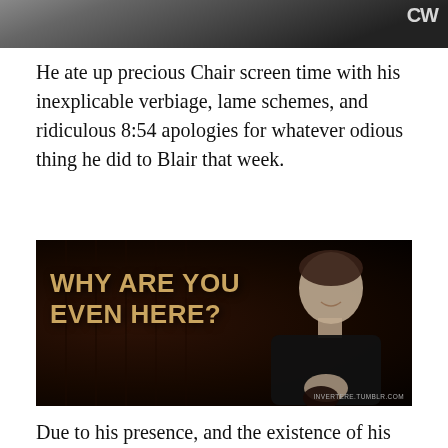[Figure (photo): Top portion of a photo showing a person in a suit with partial CW network logo visible in the upper right corner, dark background]
He ate up precious Chair screen time with his inexplicable verbiage, lame schemes, and ridiculous 8:54 apologies for whatever odious thing he did to Blair that week.
[Figure (screenshot): Dark, sepia-toned image with text overlay reading 'WHY ARE YOU EVEN HERE?' with a man smiling in the background, watermark INVERTERE.TUMBLR.COM]
Due to his presence, and the existence of his evil spawn